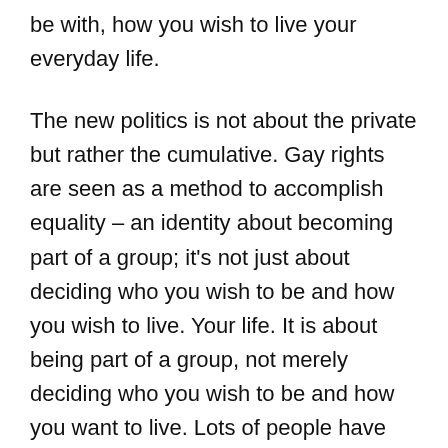be with, how you wish to live your everyday life.
The new politics is not about the private but rather the cumulative. Gay rights are seen as a method to accomplish equality – an identity about becoming part of a group; it's not just about deciding who you wish to be and how you wish to live. Your life. It is about being part of a group, not merely deciding who you wish to be and how you want to live. Lots of people have moved from the residential areas into urban centres where gay life grows.